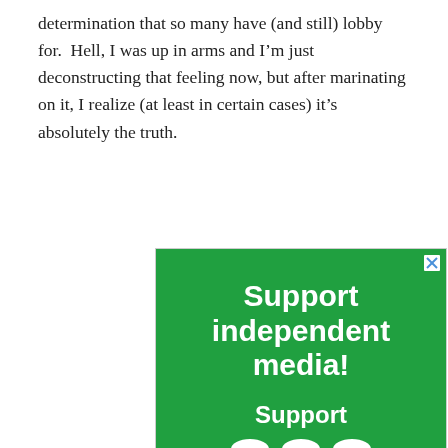determination that so many have (and still) lobby for. Hell, I was up in arms and I'm just deconstructing that feeling now, but after marinating on it, I realize (at least in certain cases) it's absolutely the truth.
[Figure (other): Green advertisement banner reading 'Support independent media!' with 'Support' and a logo at the bottom, featuring a close/X button in the top right corner.]